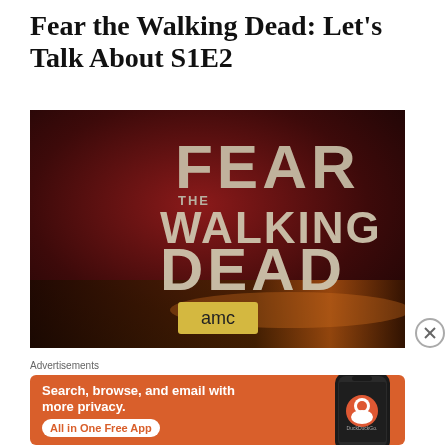Fear the Walking Dead: Let's Talk About S1E2
[Figure (photo): Fear the Walking Dead TV show logo on AMC network — shows stylized distressed text 'FEAR THE WALKING DEAD' on a dark red/brown background with AMC logo at bottom]
Advertisements
[Figure (infographic): DuckDuckGo advertisement banner — orange background with text 'Search, browse, and email with more privacy. All in One Free App' with a phone showing DuckDuckGo logo]